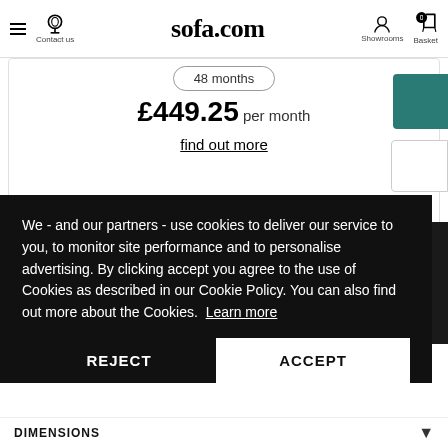sofa.com — Contact us | Showrooms | Basket (0)
48 months
£449.25 per month
find out more
We - and our partners - use cookies to deliver our service to you, to monitor site performance and to personalise advertising. By clicking accept you agree to the use of Cookies as described in our Cookie Policy. You can also find out more about the Cookies. Learn more
REJECT
ACCEPT
DIMENSIONS